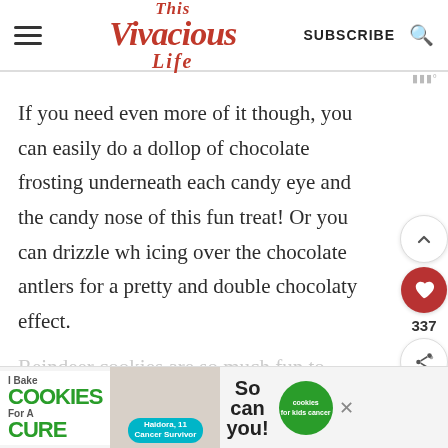[Figure (logo): This Vivacious Life blog logo in red cursive script with hamburger menu icon, SUBSCRIBE text and search icon in the header]
If you need even more of it though, you can easily do a dollop of chocolate frosting underneath each candy eye and the candy nose of this fun treat! Or you can drizzle wh icing over the chocolate antlers for a pretty and double chocolaty effect.
Reindeer cookies are so much fun to make an
[Figure (photo): I Bake Cookies For A Cure advertisement banner with person holding cookies, 'So can you!' text and cookies for kids cancer logo]